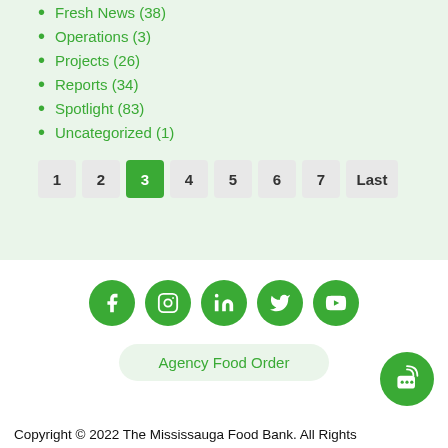Fresh News (38)
Operations (3)
Projects (26)
Reports (34)
Spotlight (83)
Uncategorized (1)
Pagination: 1 2 3 4 5 6 7 Last
[Figure (infographic): Social media icons: Facebook, Instagram, LinkedIn, Twitter, YouTube — green circles with white icons]
Agency Food Order
Copyright © 2022 The Mississauga Food Bank. All Rights